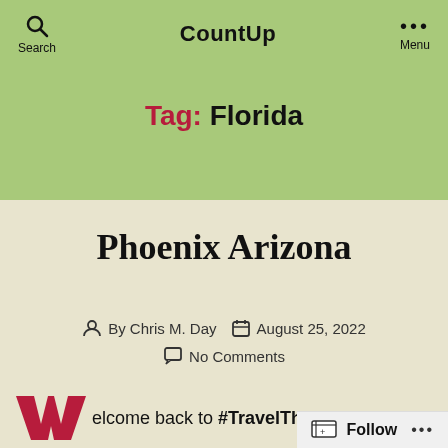CountUp
Tag: Florida
Phoenix Arizona
By Chris M. Day  August 25, 2022  No Comments
Welcome back to #TravelThursday.